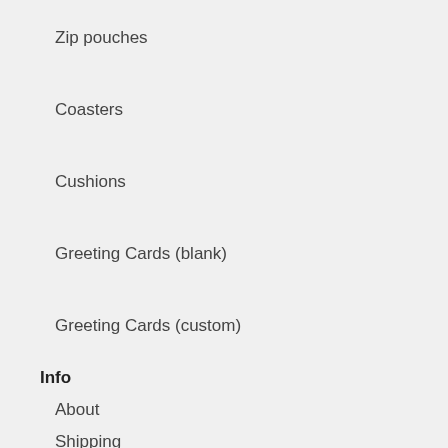Zip pouches
Coasters
Cushions
Greeting Cards (blank)
Greeting Cards (custom)
Info
About
Shipping